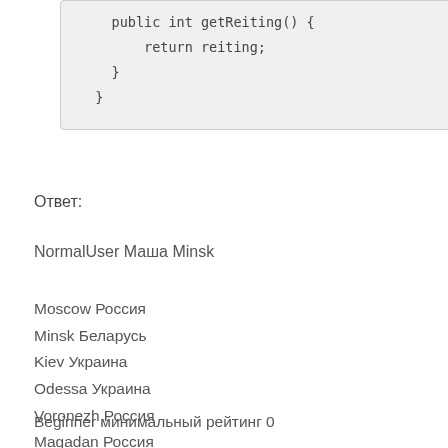[Figure (screenshot): Code block showing Java method: public int getReiting() { return reiting; } }]
Ответ:
NormalUser Маша Minsk
Moscow Россия
Minsk Беларусь
Kiev Украина
Odessa Украина
Voronezh Россия
Magadan Россия
Other
Beginner минимальный рейтинг 0